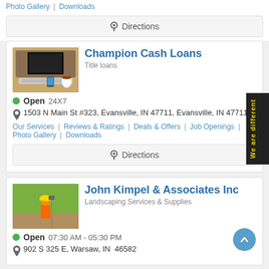Photo Gallery | Downloads
Directions
Champion Cash Loans — Title loans
Open 24X7
1503 N Main St #323, Evansville, IN 47711, Evansville, IN 47711
Our Services | Reviews & Ratings | Deals & Offers | Job Openings | Photo Gallery | Downloads
Directions
John Kimpel & Associates Inc — Landscaping Services & Supplies
Open 07:30 AM - 05:30 PM
902 S 325 E, Warsaw, IN  46582